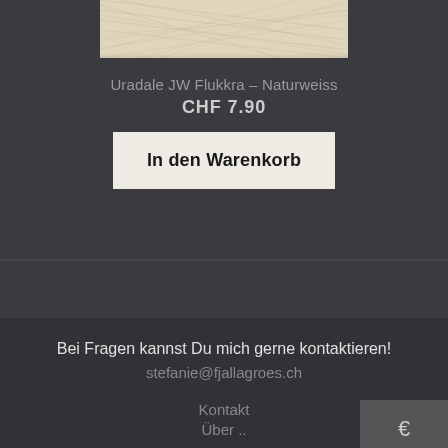[Figure (photo): Cream/natural white yarn cone or ball, textured with criss-crossing threads, on a dark background.]
Uradale JW Flukkra – Naturweiss
CHF 7.90
In den Warenkorb
Bei Fragen kannst Du mich gerne kontaktieren!
stefanie@fjallagroes.ch
Kontakt
Über ..
€